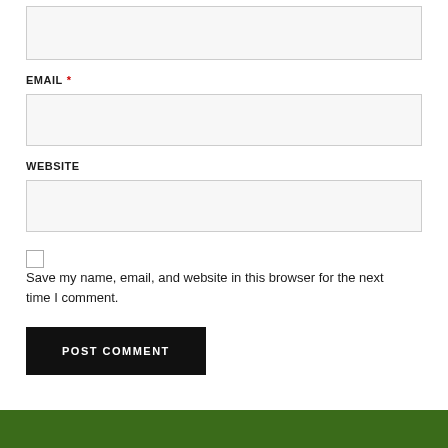[Figure (screenshot): Empty input text box (first field, partially visible at top)]
EMAIL *
[Figure (screenshot): Empty email input text box]
WEBSITE
[Figure (screenshot): Empty website input text box]
Save my name, email, and website in this browser for the next time I comment.
POST COMMENT